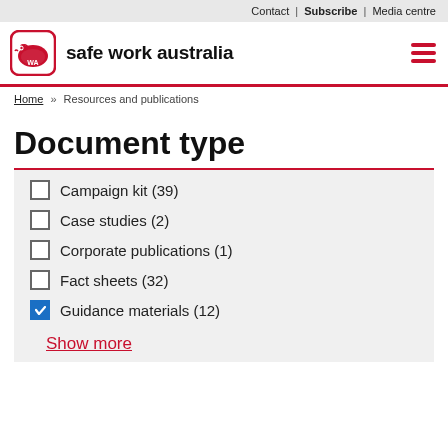Contact | Subscribe | Media centre
[Figure (logo): Safe Work Australia logo with wombat icon and text 'safe work australia']
Home » Resources and publications
Document type
Campaign kit (39)
Case studies (2)
Corporate publications (1)
Fact sheets (32)
Guidance materials (12)
Show more